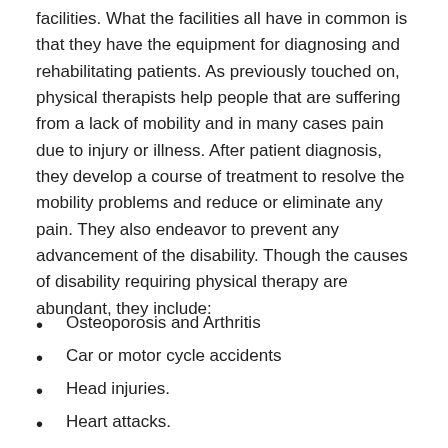facilities. What the facilities all have in common is that they have the equipment for diagnosing and rehabilitating patients. As previously touched on, physical therapists help people that are suffering from a lack of mobility and in many cases pain due to injury or illness. After patient diagnosis, they develop a course of treatment to resolve the mobility problems and reduce or eliminate any pain. They also endeavor to prevent any advancement of the disability. Though the causes of disability requiring physical therapy are abundant, they include:
Osteoporosis and Arthritis
Car or motor cycle accidents
Head injuries.
Heart attacks.
Carpal Tunnel Syndrome.
Burn injuries.
Knee Replacement.
Sciatica.